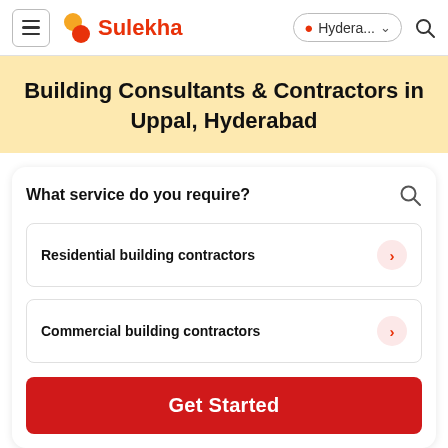Sulekha — Hydera... (location) — Search
Building Consultants & Contractors in Uppal, Hyderabad
What service do you require?
Residential building contractors
Commercial building contractors
Get Started
How Sulekha works?
1  2  3